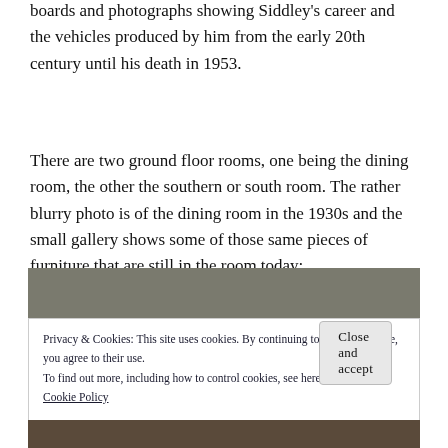boards and photographs showing Siddley's career and the vehicles produced by him from the early 20th century until his death in 1953.
There are two ground floor rooms, one being the dining room, the other the southern or south room. The rather blurry photo is of the dining room in the 1930s and the small gallery shows some of those same pieces of furniture that are still in the room today:
[Figure (photo): A partial blurry photograph strip, muted grey-green tones, partially visible at the top of a cookie consent banner overlay.]
Privacy & Cookies: This site uses cookies. By continuing to use this website, you agree to their use.
To find out more, including how to control cookies, see here:
Cookie Policy
[Figure (photo): Bottom strip of a photograph showing furniture and people, partially visible at the bottom of the page.]